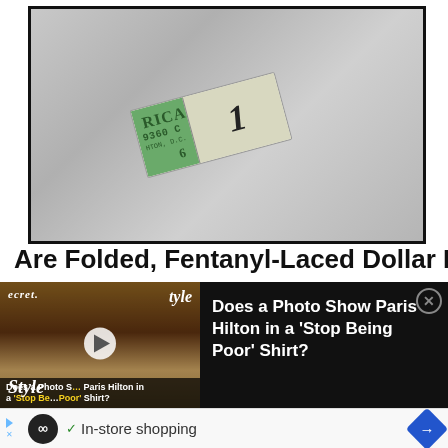[Figure (photo): A folded US one-dollar bill lying on a scratched metallic/marble surface, showing partial text 'RICA', serial number '9360 C', 'HTON, D.C.', and the number '6', with the green seal and the numeral '1' visible on the right side of the bill.]
Are Folded, Fentanyl-Laced Dollar Bills
[Figure (screenshot): Video popup overlay showing a thumbnail of a woman in a sparkly dress with InStyle branding, a play button, caption reading 'Does a Photo Show Paris Hilton in a Stop Being Poor Shirt?', and on the right side white text on black background: 'Does a Photo Show Paris Hilton in a 'Stop Being Poor' Shirt?' with a close (X) button.]
[Figure (infographic): Advertisement bar at the bottom showing AdChoices icon, a black circle with infinity symbol, a green checkmark, text 'In-store shopping', and a blue rotated square with a turn arrow icon.]